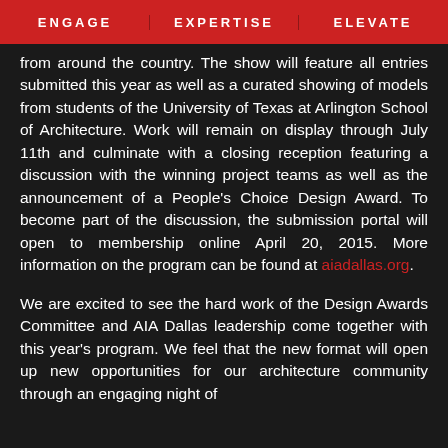ENGAGE   EXPERTISE   ELEVATE
from around the country. The show will feature all entries submitted this year as well as a curated showing of models from students of the University of Texas at Arlington School of Architecture. Work will remain on display through July 11th and culminate with a closing reception featuring a discussion with the winning project teams as well as the announcement of a People's Choice Design Award. To become part of the discussion, the submission portal will open to membership online April 20, 2015. More information on the program can be found at aiadallas.org.
We are excited to see the hard work of the Design Awards Committee and AIA Dallas leadership come together with this year’s program. We feel that the new format will open up new opportunities for our architecture community through an engaging night of